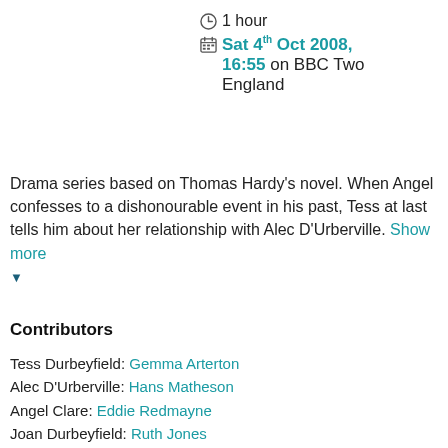1 hour
Sat 4th Oct 2008, 16:55 on BBC Two England
Drama series based on Thomas Hardy's novel. When Angel confesses to a dishonourable event in his past, Tess at last tells him about her relationship with Alec D'Urberville. Show more
Contributors
Tess Durbeyfield: Gemma Arterton
Alec D'Urberville: Hans Matheson
Angel Clare: Eddie Redmayne
Joan Durbeyfield: Ruth Jones
Parson Tringham: Donald Sumpter
John Durbeyfield: Ian Puleston-Davies
Mrs D'Urberville: Anna Massey